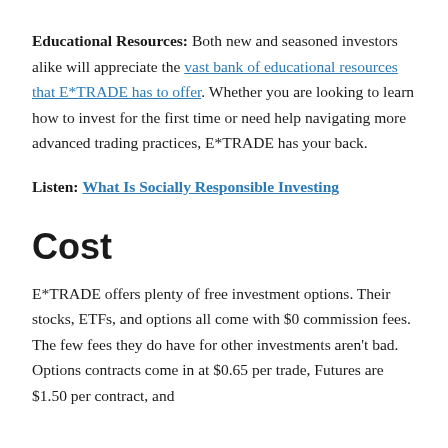Educational Resources: Both new and seasoned investors alike will appreciate the vast bank of educational resources that E*TRADE has to offer. Whether you are looking to learn how to invest for the first time or need help navigating more advanced trading practices, E*TRADE has your back.
Listen: What Is Socially Responsible Investing
Cost
E*TRADE offers plenty of free investment options. Their stocks, ETFs, and options all come with $0 commission fees. The few fees they do have for other investments aren't bad. Options contracts come in at $0.65 per trade, Futures are $1.50 per contract, and